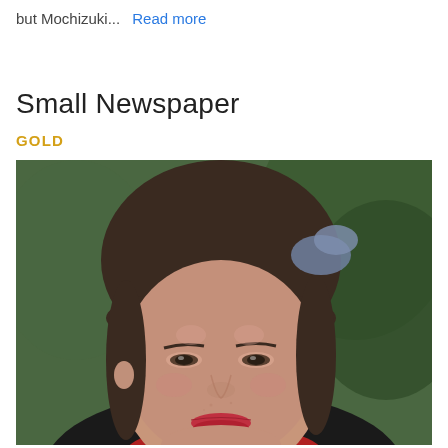but Mochizuki...   Read more
Small Newspaper
GOLD
[Figure (photo): Close-up portrait of a young woman with brown bangs and a blue bow/hair accessory, wearing a red top, with a slight smile. Green foliage visible in background.]